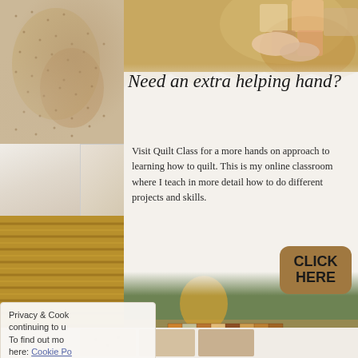[Figure (photo): Left column collage: close-up of beige/tan dotted fabric on top, lighter fabric in middle, natural rope/twine texture at bottom]
[Figure (photo): Top right: hands holding colorful quilt blocks/fabric squares in warm tones]
Need an extra helping hand?
Visit Quilt Class for a more hands on approach to learning how to quilt. This is my online classroom where I teach in more detail how to do different projects and skills.
[Figure (infographic): CLICK HERE button - rounded rectangle in warm brown/tan color with bold black text]
[Figure (photo): Bottom right: woman in yellow dress holding a large patchwork quilt with orange, tan, and brown squares on a porch]
Privacy & Cook continuing to u To find out mo here: Cookie Po
[Figure (photo): Bottom strip with thumbnail images of fabric/quilting materials and a gold arrow icon]